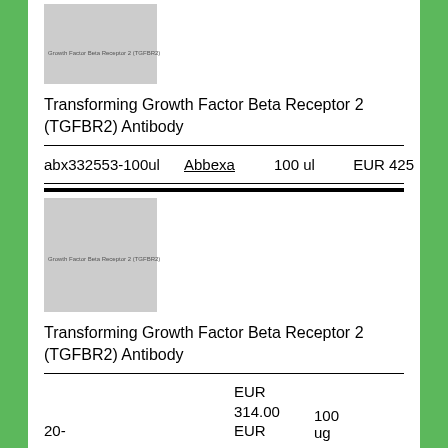[Figure (photo): Product thumbnail image placeholder for Transforming Growth Factor Beta Receptor 2 (TGFBR2) Antibody, gray rectangle with small label text]
Transforming Growth Factor Beta Receptor 2 (TGFBR2) Antibody
| abx332553-100ul | Abbexa | 100 ul | EUR 425 |
[Figure (photo): Product thumbnail image placeholder for Transforming Growth Factor Beta Receptor 2 (TGFBR2) Antibody, gray rectangle with small label text]
Transforming Growth Factor Beta Receptor 2 (TGFBR2) Antibody
| 20- | Abbexa | EUR 314.00 EUR | 100 ug |